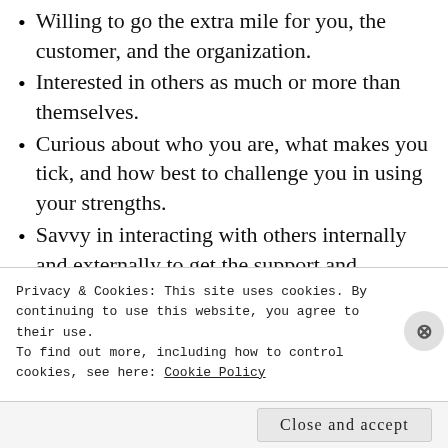Willing to go the extra mile for you, the customer, and the organization.
Interested in others as much or more than themselves.
Curious about who you are, what makes you tick, and how best to challenge you in using your strengths.
Savvy in interacting with others internally and externally to get the support and resources to get the job done.
Effective in accomplishing the high impact priorities. They do it all — the...
Privacy & Cookies: This site uses cookies. By continuing to use this website, you agree to their use.
To find out more, including how to control cookies, see here: Cookie Policy
Close and accept